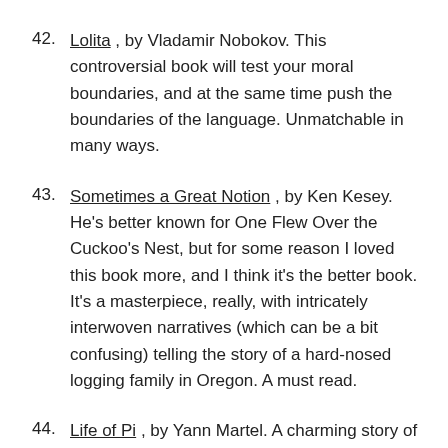42. Lolita , by Vladamir Nobokov. This controversial book will test your moral boundaries, and at the same time push the boundaries of the language. Unmatchable in many ways.
43. Sometimes a Great Notion , by Ken Kesey. He's better known for One Flew Over the Cuckoo's Nest, but for some reason I loved this book more, and I think it's the better book. It's a masterpiece, really, with intricately interwoven narratives (which can be a bit confusing) telling the story of a hard-nosed logging family in Oregon. A must read.
44. Life of Pi , by Yann Martel. A charming story of an Indian boy lost in the middle of the ocean